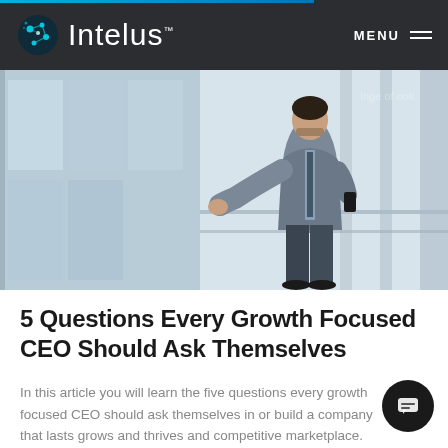Intelus — MENU
[Figure (photo): Business professional in gray suit walking through a modern glass building corridor, side view, holding a phone]
5 Questions Every Growth Focused CEO Should Ask Themselves
In this article you will learn the five questions every growth focused CEO should ask themselves in order to build a company that lasts grows and thrives and competitive marketplace.